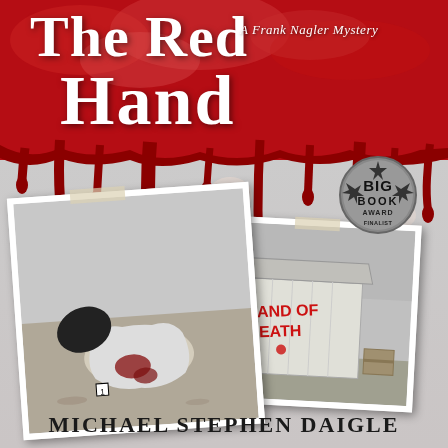[Figure (illustration): Book cover for 'The Red Hand' by Michael Stephen Daigle. A Frank Nagler Mystery. Features a blood-red dripping background at the top, two black-and-white crime scene polaroid photographs in the middle (one showing a body on the ground, one showing a shed with 'HAND OF DEATH' graffiti), and a Big Book Award badge. Author name at bottom.]
The Red Hand
A Frank Nagler Mystery
Michael Stephen Daigle